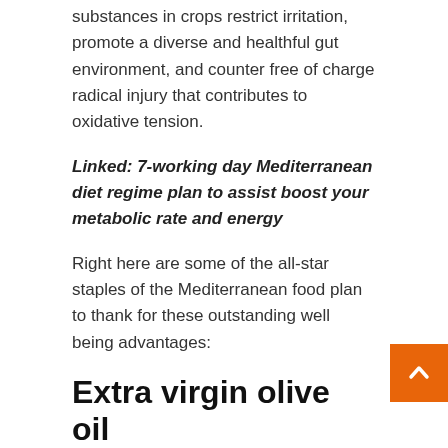substances in crops restrict irritation, promote a diverse and healthful gut environment, and counter free of charge radical injury that contributes to oxidative tension.
Linked: 7-working day Mediterranean diet regime plan to assist boost your metabolic rate and energy
Right here are some of the all-star staples of the Mediterranean food plan to thank for these outstanding well being advantages:
Extra virgin olive oil
Excess virgin olive oil, EVOO, is a pillar of the Mediterranean food plan. EVOO is higher in monounsaturated fats and polyphenols, anti-oxidants that guard versus free of charge radical injury. When